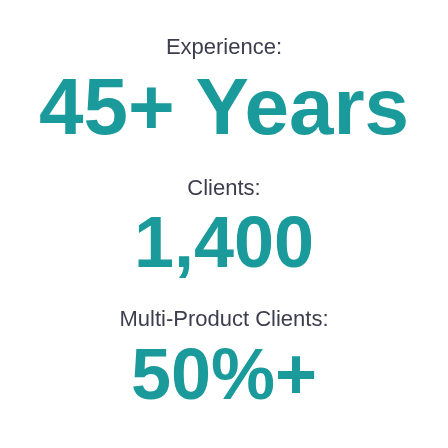Experience:
45+ Years
Clients:
1,400
Multi-Product Clients:
50%+